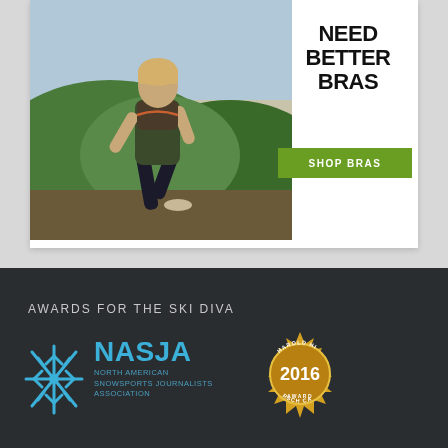[Figure (infographic): Advertisement showing a woman running outdoors wearing a sports bra. Text reads 'NEED BETTER BRAS' with a green 'SHOP BRAS' button.]
AWARDS FOR THE SKI DIVA
[Figure (logo): NASJA North American Snowsports Journalists Association logo with blue snowflake icon, alongside a gold Harold Hirsch Award 2016 medallion badge.]